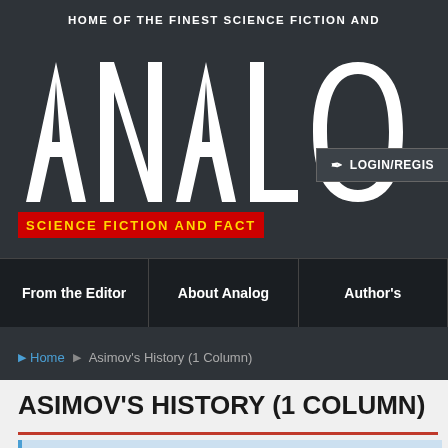HOME OF THE FINEST SCIENCE FICTION AND
[Figure (logo): ANALOG Science Fiction and Fact magazine logo — large white stylized letters spelling ANALOG with yellow text on red background reading SCIENCE FICTION AND FACT]
LOGIN/REGIS
From the Editor   About Analog   Author's
Home ▶ Asimov's History (1 Column)
ASIMOV'S HISTORY (1 COLUMN)